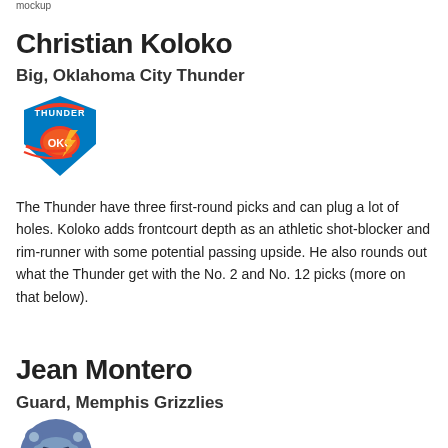mockup
Christian Koloko
Big, Oklahoma City Thunder
[Figure (logo): Oklahoma City Thunder logo]
The Thunder have three first-round picks and can plug a lot of holes. Koloko adds frontcourt depth as an athletic shot-blocker and rim-runner with some potential passing upside. He also rounds out what the Thunder get with the No. 2 and No. 12 picks (more on that below).
Jean Montero
Guard, Memphis Grizzlies
[Figure (logo): Memphis Grizzlies logo]